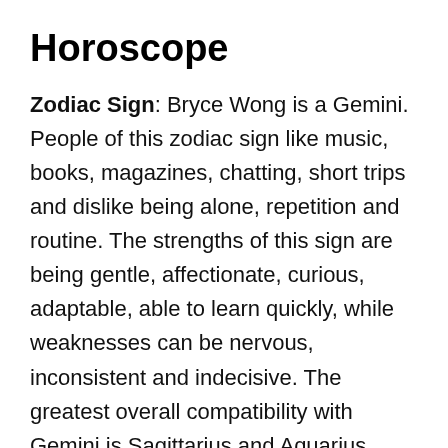Horoscope
Zodiac Sign: Bryce Wong is a Gemini. People of this zodiac sign like music, books, magazines, chatting, short trips and dislike being alone, repetition and routine. The strengths of this sign are being gentle, affectionate, curious, adaptable, able to learn quickly, while weaknesses can be nervous, inconsistent and indecisive. The greatest overall compatibility with Gemini is Sagittarius and Aquarius.
Chinese Zodiac: Bryce Wong was born in the Year of the Tiger. People born under this